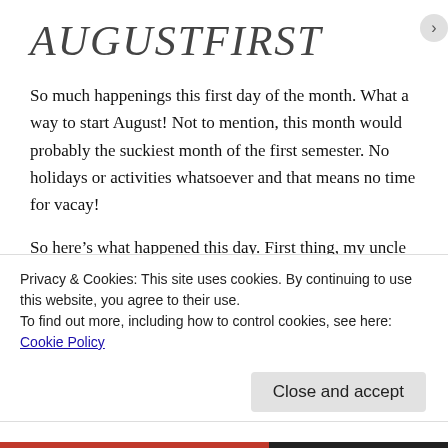AUGUSTFIRST
So much happenings this first day of the month. What a way to start August! Not to mention, this month would probably the suckiest month of the first semester. No holidays or activities whatsoever and that means no time for vacay!
So here's what happened this day. First thing, my uncle died yesterday (Okay so not really a happening that happened for today but bitch please 🖐). Second, my baby sister got hospitalized last night due to a high fever. It always happen when her birthday's coming. Poor cute little thing has to experience it for the second
Privacy & Cookies: This site uses cookies. By continuing to use this website, you agree to their use.
To find out more, including how to control cookies, see here: Cookie Policy
Close and accept